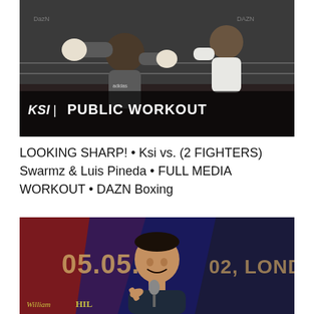[Figure (photo): KSI Public Workout - two boxers sparring in a boxing ring. Text overlay reads 'KSI | PUBLIC WORKOUT' in white bold letters on bottom left.]
LOOKING SHARP! • Ksi vs. (2 FIGHTERS) Swarmz & Luis Pineda • FULL MEDIA WORKOUT • DAZN Boxing
[Figure (photo): A smiling man holding a microphone at what appears to be a boxing press conference. Background shows text '05.05.18', '02, LONDON' and 'William Hill' branding with red and blue design elements.]